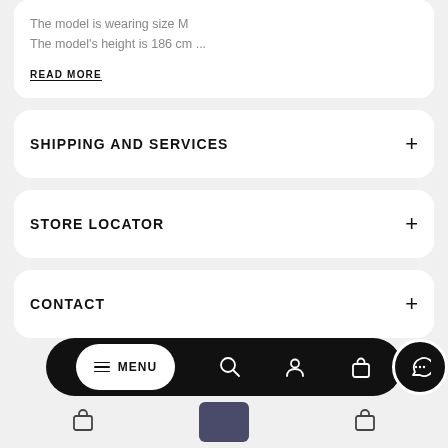The model is wearing size M
The model's height is 186 cm ...
READ MORE
SHIPPING AND SERVICES
STORE LOCATOR
CONTACT
[Figure (screenshot): Bottom navigation bar with MENU button, search, account, bag, and chat icons]